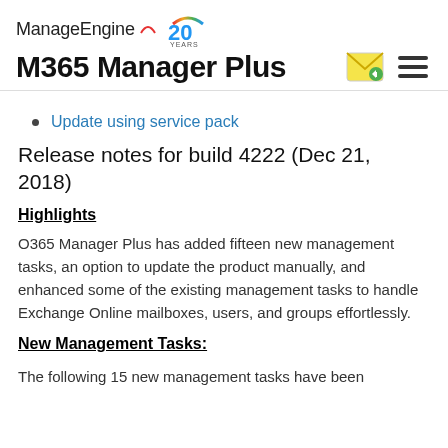ManageEngine 20 Years — M365 Manager Plus
Update using service pack
Release notes for build 4222 (Dec 21, 2018)
Highlights
O365 Manager Plus has added fifteen new management tasks, an option to update the product manually, and enhanced some of the existing management tasks to handle Exchange Online mailboxes, users, and groups effortlessly.
New Management Tasks:
The following 15 new management tasks have been added: